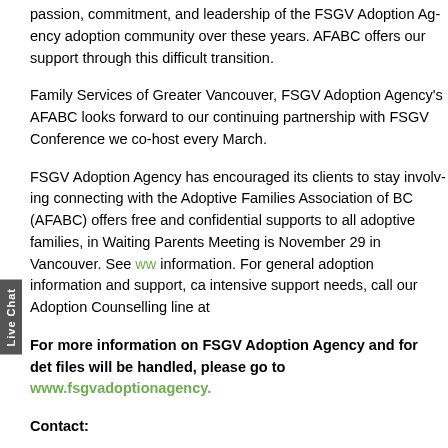passion, commitment, and leadership of the FSGV Adoption Agency adoption community over these years. AFABC offers our support through this difficult transition.
Family Services of Greater Vancouver, FSGV Adoption Agency's AFABC looks forward to our continuing partnership with FSGV Conference we co-host every March.
FSGV Adoption Agency has encouraged its clients to stay involved connecting with the Adoptive Families Association of BC (AFAB offers free and confidential supports to all adoptive families, i Waiting Parents Meeting is November 29 in Vancouver. See ww information. For general adoption information and support, ca intensive support needs, call our Adoption Counselling line at
For more information on FSGV Adoption Agency and for det files will be handled, please go to www.fsgvadoptionagency.
Contact:
Andrea Driedger